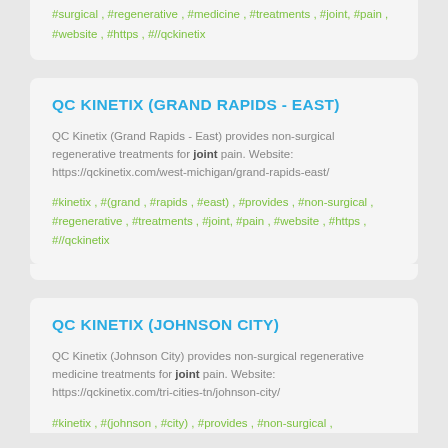#surgical , #regenerative , #medicine , #treatments , #joint, #pain , #website , #https , #//qckinetix
QC KINETIX (GRAND RAPIDS - EAST)
QC Kinetix (Grand Rapids - East) provides non-surgical regenerative treatments for joint pain. Website: https://qckinetix.com/west-michigan/grand-rapids-east/
#kinetix , #(grand , #rapids , #east) , #provides , #non-surgical , #regenerative , #treatments , #joint, #pain , #website , #https , #//qckinetix
QC KINETIX (JOHNSON CITY)
QC Kinetix (Johnson City) provides non-surgical regenerative medicine treatments for joint pain. Website: https://qckinetix.com/tri-cities-tn/johnson-city/
#kinetix , #(johnson , #city) , #provides , #non-surgical ,